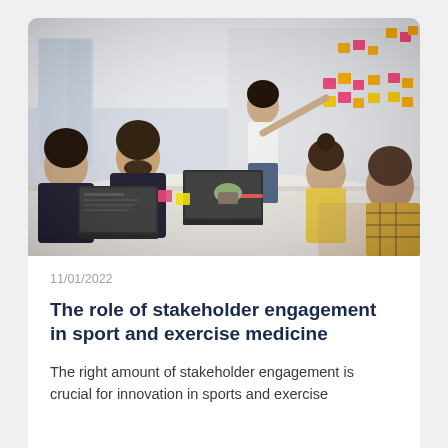[Figure (photo): Group of people in a meeting room around a white table with laptops. A woman with dark hair stands at the front pointing to colorful sticky notes arranged on a white wall. Other attendees including a bearded man, women, and a person in a plaid shirt are watching.]
11/01/2022
The role of stakeholder engagement in sport and exercise medicine
The right amount of stakeholder engagement is crucial for innovation in sports and exercise